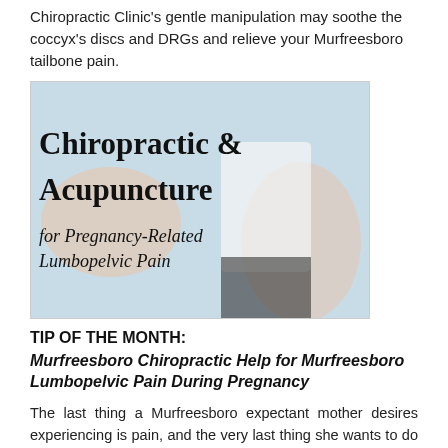Chiropractic Clinic's gentle manipulation may soothe the coccyx's discs and DRGs and relieve your Murfreesboro tailbone pain.
[Figure (photo): Photo showing chiropractic and acupuncture for pregnancy-related lumbopelvic pain, with text overlay. Copyright depositphotos.com. Shows a pregnant woman holding her lower back, and hands performing acupuncture. Title text reads: Chiropractic & Acupuncture for Pregnancy-Related Lumbopelvic Pain]
TIP OF THE MONTH:
Murfreesboro Chiropractic Help for Murfreesboro Lumbopelvic Pain During Pregnancy
The last thing a Murfreesboro expectant mother desires experiencing is pain, and the very last thing she wants to do is take medication or go through medical procedures!